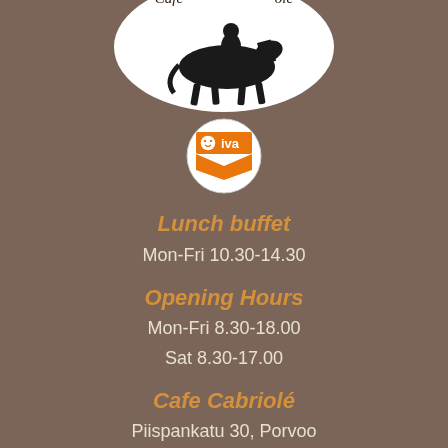[Figure (logo): Cafe Cabriolé logo in white oval with horse and rider illustration and text 'Cafe Cabriolé' around the top]
[Figure (logo): Oiva quality badge - orange rectangle with smiley face circle, white text 'Oiva', orange ribbon/badge shape]
Lunch buffet
Mon-Fri 10.30-14.30
Opening Hours
Mon-Fri 8.30-18.00
Sat 8.30-17.00
Cafe Cabriolé
Piispankatu 30, Porvoo
Tel 019-523 2800